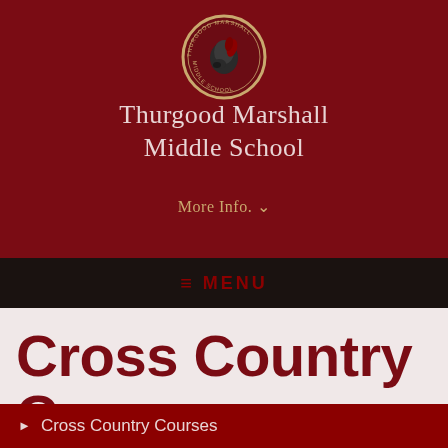[Figure (logo): Thurgood Marshall Middle School circular logo with knight/horse head mascot and text around the border]
Thurgood Marshall Middle School
More Info. ▾
≡  MENU
Cross Country Courses
▶  Cross Country Courses